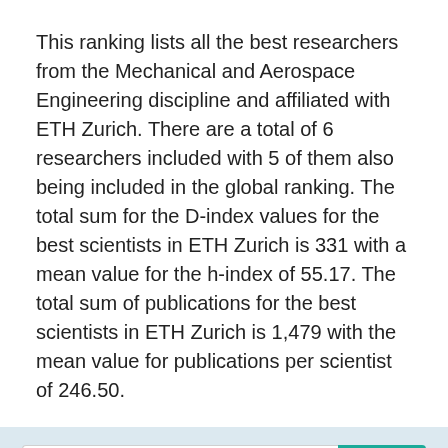This ranking lists all the best researchers from the Mechanical and Aerospace Engineering discipline and affiliated with ETH Zurich. There are a total of 6 researchers included with 5 of them also being included in the global ranking. The total sum for the D-index values for the best scientists in ETH Zurich is 331 with a mean value for the h-index of 55.17. The total sum of publications for the best scientists in ETH Zurich is 1,479 with the mean value for publications per scientist of 246.50.
[Figure (other): Search bar with placeholder text 'Search by name' and a teal search button with a magnifying glass icon]
[Figure (other): Dropdown selector labelled 'Sort by World Position' with a chevron/down arrow on the right]